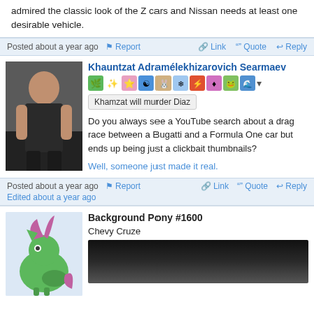admired the classic look of the Z cars and Nissan needs at least one desirable vehicle.
Posted about a year ago | Report | Link | Quote | Reply
Khauntzat Adramélekhizarovich Searmaev
Khamzat will murder Diaz
Do you always see a YouTube search about a drag race between a Bugatti and a Formula One car but ends up being just a clickbait thumbnails?
Well, someone just made it real.
Posted about a year ago | Report | Link | Quote | Reply | Edited about a year ago
Background Pony #1600
Chevy Cruze